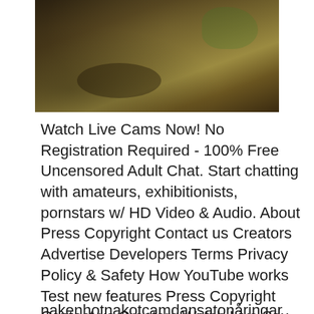[Figure (photo): Photograph of a person crouching outdoors on dry ground with vegetation in the background]
Watch Live Cams Now! No Registration Required - 100% Free Uncensored Adult Chat. Start chatting with amateurs, exhibitionists, pornstars w/ HD Video & Audio. About Press Copyright Contact us Creators Advertise Developers Terms Privacy Policy & Safety How YouTube works Test new features Press Copyright Contact us Creators Watch Live Sex Cams with Hot Cam Girls for FREE. Sex chat with horny girls, guys, trans & couples who can't wait to have live sex with you on webcams! Worlds Best Cams, Cam Girls, Live Sex, Chat With Live Babes!
nakenhotnakotcamdansatonåringar (18+)webcam